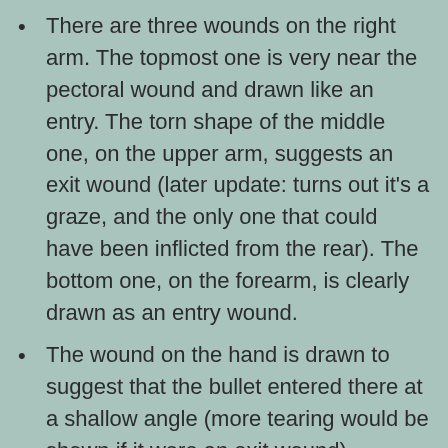There are three wounds on the right arm. The topmost one is very near the pectoral wound and drawn like an entry. The torn shape of the middle one, on the upper arm, suggests an exit wound (later update: turns out it's a graze, and the only one that could have been inflicted from the rear). The bottom one, on the forearm, is clearly drawn as an entry wound.
The wound on the hand is drawn to suggest that the bullet entered there at a shallow angle (more tearing would be shown if it were an exit wound).